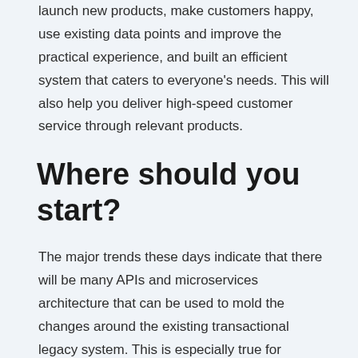launch new products, make customers happy, use existing data points and improve the practical experience, and built an efficient system that caters to everyone's needs. This will also help you deliver high-speed customer service through relevant products.
Where should you start?
The major trends these days indicate that there will be many APIs and microservices architecture that can be used to mold the changes around the existing transactional legacy system. This is especially true for insurers who do not have the budget to